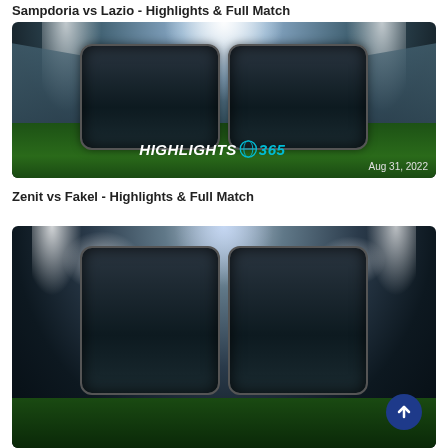Sampdoria vs Lazio - Highlights & Full Match
[Figure (photo): Highlights365 football match thumbnail showing a stadium with two dark rounded rectangles in the center. Logo reads HIGHLIGHTS 365 with a football icon. Date: Aug 31, 2022.]
Zenit vs Fakel - Highlights & Full Match
[Figure (photo): Highlights365 football match thumbnail showing a stadium with two dark rounded rectangles. A circular blue back-to-top button is visible in the bottom right.]